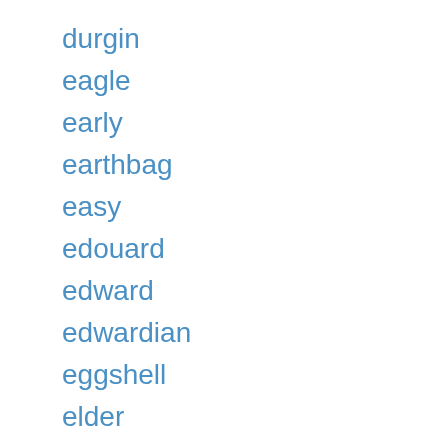durgin
eagle
early
earthbag
easy
edouard
edward
edwardian
eggshell
elder
electric
elegant
elkington
empire
england
english
ensemble